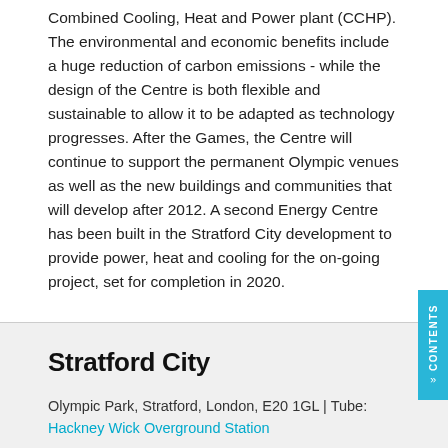Combined Cooling, Heat and Power plant (CCHP). The environmental and economic benefits include a huge reduction of carbon emissions - while the design of the Centre is both flexible and sustainable to allow it to be adapted as technology progresses. After the Games, the Centre will continue to support the permanent Olympic venues as well as the new buildings and communities that will develop after 2012. A second Energy Centre has been built in the Stratford City development to provide power, heat and cooling for the on-going project, set for completion in 2020.
Stratford City
Olympic Park, Stratford, London, E20 1GL | Tube: Hackney Wick Overground Station